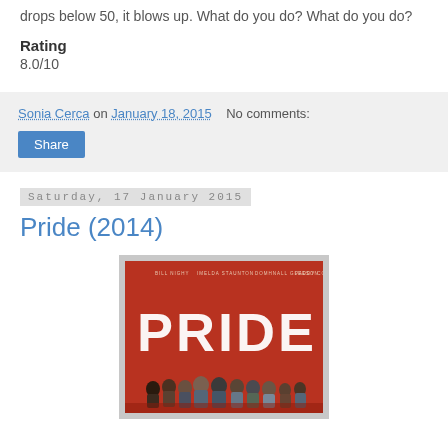drops below 50, it blows up. What do you do? What do you do?
Rating
8.0/10
Sonia Cerca on January 18, 2015   No comments:
Share
Saturday, 17 January 2015
Pride (2014)
[Figure (photo): Movie poster for Pride (2014) showing red background with cast members and large white PRIDE lettering]